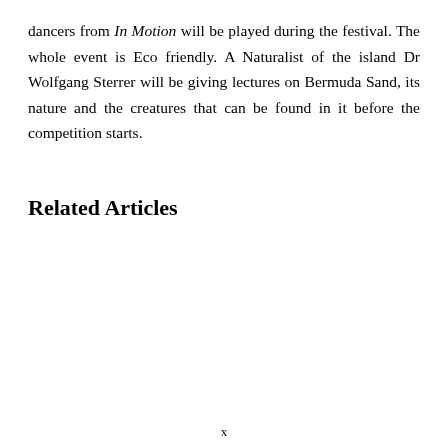dancers from In Motion will be played during the festival. The whole event is Eco friendly. A Naturalist of the island Dr Wolfgang Sterrer will be giving lectures on Bermuda Sand, its nature and the creatures that can be found in it before the competition starts.
Related Articles
x